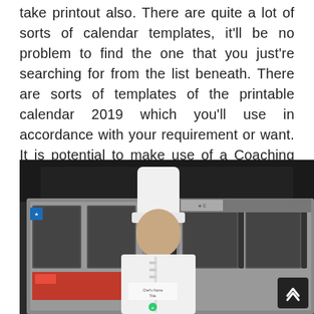take printout also. There are quite a lot of sorts of calendar templates, it'll be no problem to find the one that you just're searching for from the list beneath. There are sorts of templates of the printable calendar 2019 which you'll use in accordance with your requirement or want. It is potential to make use of a Coaching Calendar Template, for instance, to help with scheduling the essential training modules for employees.
[Figure (photo): A chef in a white uniform and tall white chef's hat standing in a professional kitchen in front of Vulcan commercial ovens, smiling at the camera.]